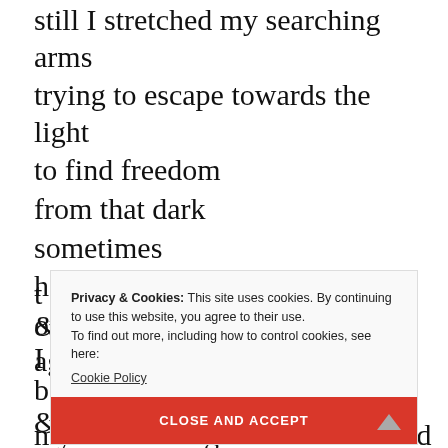as my heart & mind exploded
still I stretched my searching arms
trying to escape towards the light
to find freedom
from that dark
sometimes
hands would pull me out
only to cruelly abandon me again
t
&
I
b
&
my forlorn fingers touch the cold
[Figure (screenshot): Cookie consent popup overlay with text: 'Privacy & Cookies: This site uses cookies. By continuing to use this website, you agree to their use. To find out more, including how to control cookies, see here: Cookie Policy' and a red 'CLOSE AND ACCEPT' button.]